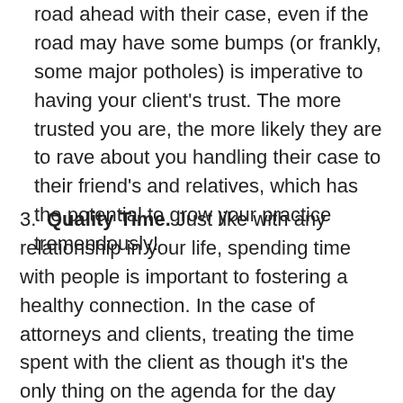road ahead with their case, even if the road may have some bumps (or frankly, some major potholes) is imperative to having your client's trust. The more trusted you are, the more likely they are to rave about you handling their case to their friend's and relatives, which has the potential to grow your practice tremendously!
3. Quality Time. Just like with any relationship in your life, spending time with people is important to fostering a healthy connection. In the case of attorneys and clients, treating the time spent with the client as though it's the only thing on the agenda for the day makes the client feel respected. Rather than feeling like they're being rushed off the phone or out the door, and thus feeling anxious, being treated with respect and having your undivided attention puts the client at